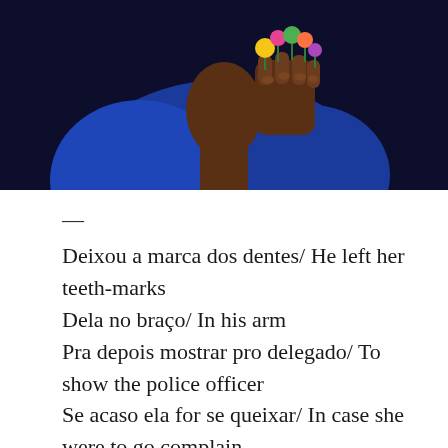[Figure (illustration): A painted illustration of a person in a blue shirt holding a fist with colorful flowers or figures on top, dark background.]
—
Deixou a marca dos dentes/ He left her teeth-marks
Dela no braço/ In his arm
Pra depois mostrar pro delegado/ To show the police officer
Se acaso ela for se queixar/ In case she were to go complain
Da surra que levou/ About the beating she took
Por causa de um ciúme incontrolado/ On account of uncontrolled jealousy
The text continues below (partially visible)